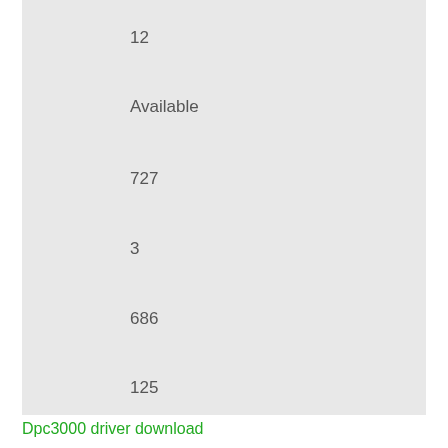12
Available
727
3
686
125
Dpc3000 driver download